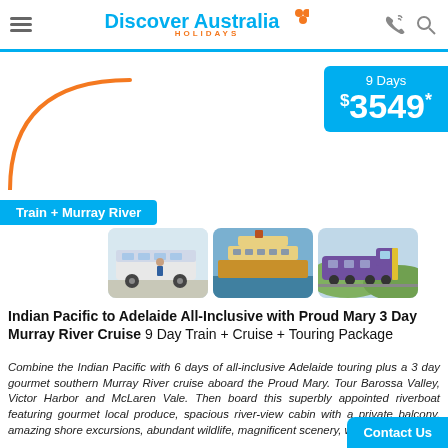Discover Australia HOLIDAYS
[Figure (logo): Discover Australia Holidays logo with orange dots and blue text]
[Figure (infographic): Orange arc/circle decorative element on left side]
9 Days $3549*
Train + Murray River
[Figure (photo): Three thumbnail photos: a coach bus, a river cruise ship, and a train locomotive]
Indian Pacific to Adelaide All-Inclusive with Proud Mary 3 Day Murray River Cruise 9 Day Train + Cruise + Touring Package
Combine the Indian Pacific with 6 days of all-inclusive Adelaide touring plus a 3 day gourmet southern Murray River cruise aboard the Proud Mary. Tour Barossa Valley, Victor Harbor and McLaren Vale. Then board this superbly appointed riverboat featuring gourmet local produce, spacious river-view cabin with a private balcony, amazing shore excursions, abundant wildlife, magnificent scenery, w